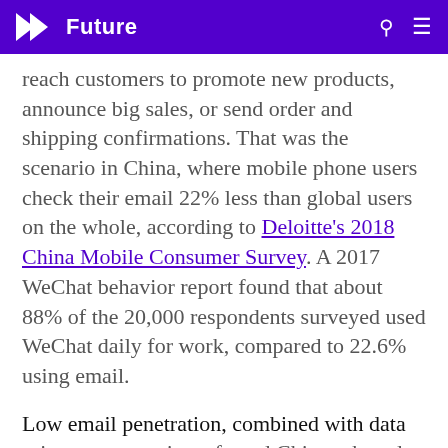Future
reach customers to promote new products, announce big sales, or send order and shipping confirmations. That was the scenario in China, where mobile phone users check their email 22% less than global users on the whole, according to Deloitte's 2018 China Mobile Consumer Survey. A 2017 WeChat behavior report found that about 88% of the 20,000 respondents surveyed used WeChat daily for work, compared to 22.6% using email.
Low email penetration, combined with data privacy expectations, forced Chinese brands to